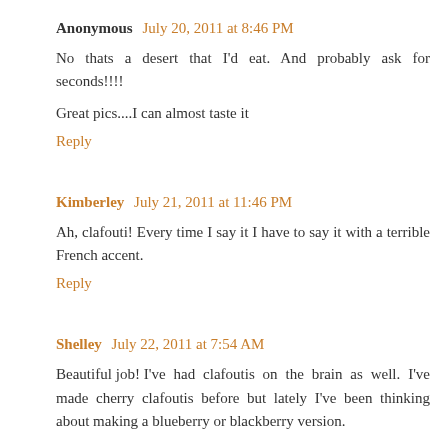Anonymous July 20, 2011 at 8:46 PM
No thats a desert that I'd eat. And probably ask for seconds!!!!
Great pics....I can almost taste it
Reply
Kimberley July 21, 2011 at 11:46 PM
Ah, clafouti! Every time I say it I have to say it with a terrible French accent.
Reply
Shelley July 22, 2011 at 7:54 AM
Beautiful job! I've had clafoutis on the brain as well. I've made cherry clafoutis before but lately I've been thinking about making a blueberry or blackberry version.